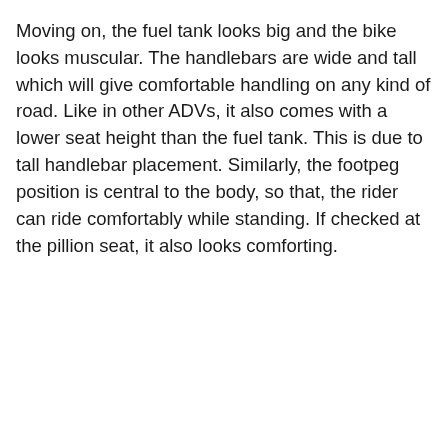Moving on, the fuel tank looks big and the bike looks muscular. The handlebars are wide and tall which will give comfortable handling on any kind of road. Like in other ADVs, it also comes with a lower seat height than the fuel tank. This is due to tall handlebar placement. Similarly, the footpeg position is central to the body, so that, the rider can ride comfortably while standing. If checked at the pillion seat, it also looks comforting.